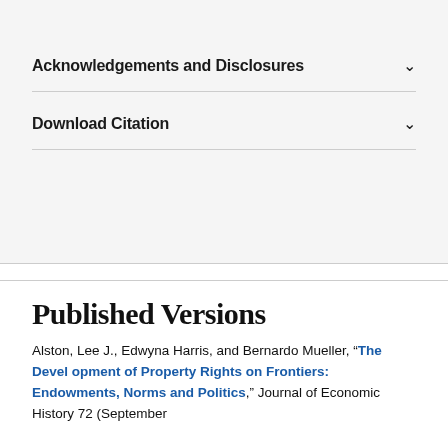Acknowledgements and Disclosures
Download Citation
Published Versions
Alston, Lee J., Edwyna Harris, and Bernardo Mueller, “The Development of Property Rights on Frontiers: Endowments, Norms and Politics,” Journal of Economic History 72 (September